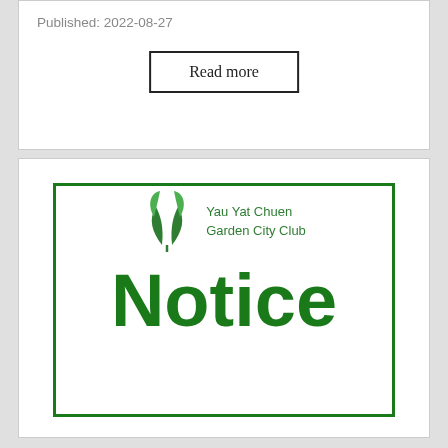Published: 2022-08-27
Read more
[Figure (logo): Yau Yat Chuen Garden City Club logo with green leaf emblem and text]
Notice